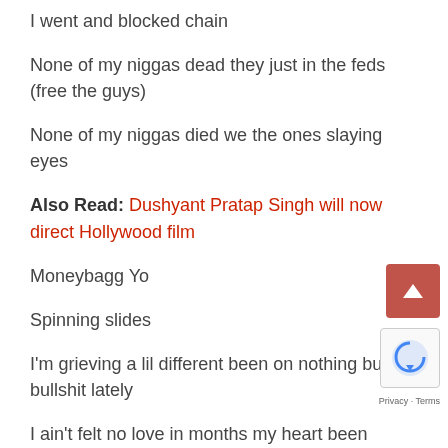I went and blocked chain
None of my niggas dead they just in the feds (free the guys)
None of my niggas died we the ones slaying eyes
Also Read: Dushyant Pratap Singh will now direct Hollywood film
Moneybagg Yo
Spinning slides
I'm grieving a lil different been on nothing but bullshit lately
I ain't felt no love in months my heart been running off of hatred (f**k you)
In touch with higher power praying Lil A beat these c (Amen)
Ain't going for extortion want sumn from me come and